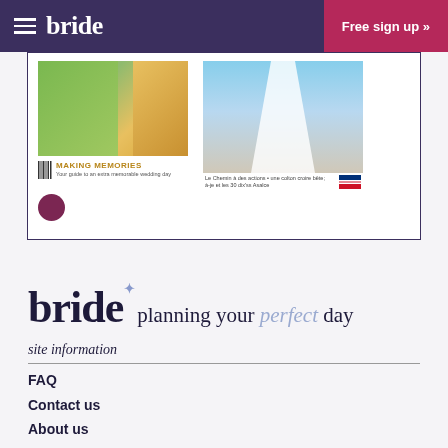bride | Free sign up »
[Figure (photo): Magazine carousel showing two wedding magazine covers. Left cover: 'MAKING MEMORIES – Your guide to an extra memorable wedding day'. Right cover: a bridal dress image with small text and a flag icon. Below the covers is a dark dot indicator (pagination dot).]
bride planning your perfect day
site information
FAQ
Contact us
About us
Privacy Policy
Terms & Conditions
Cookie Policy
Manage Cookies